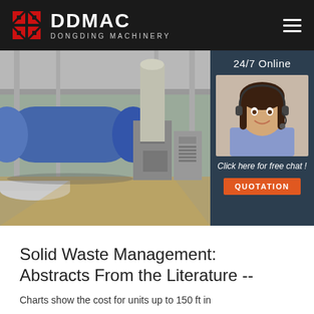DDMAC DONGDING MACHINERY
[Figure (photo): Industrial rotary drum dryer machinery in a factory setting with control panels and large cylindrical equipment. Overlaid with a 24/7 Online customer service sidebar showing a female agent wearing a headset, with 'Click here for free chat!' text and an orange QUOTATION button.]
Solid Waste Management: Abstracts From the Literature --
Charts show the cost for units up to 150 ft in